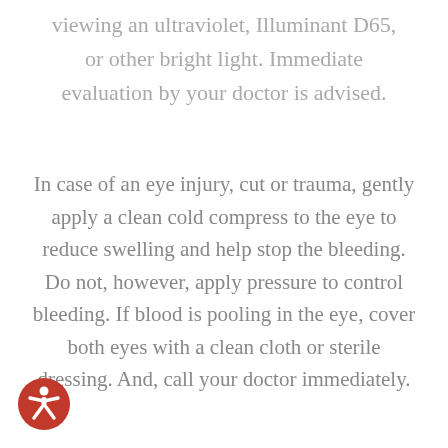viewing an ultraviolet, Illuminant D65, or other bright light. Immediate evaluation by your doctor is advised.
In case of an eye injury, cut or trauma, gently apply a clean cold compress to the eye to reduce swelling and help stop the bleeding. Do not, however, apply pressure to control bleeding. If blood is pooling in the eye, cover both eyes with a clean cloth or sterile dressing. And, call your doctor immediately.
[Figure (illustration): Accessibility icon: red circle with white figure of a person with arms outstretched]